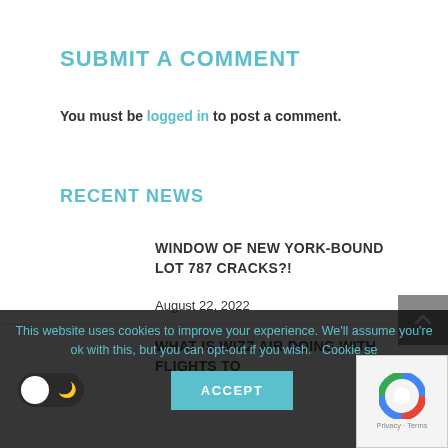SUBMIT A COMMENT
You must be logged in to post a comment.
RECENT NEWS
WINDOW OF NEW YORK-BOUND LOT 787 CRACKS?!
August 22, 2022
WHAT IS WIZZ AIR DOING WITH FLIGHTS TO
This website uses cookies to improve your experience. We'll assume you're ok with this, but you can opt-out if you wish.  Cookie se...
ACCEPT